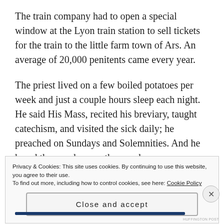The train company had to open a special window at the Lyon train station to sell tickets for the train to the little farm town of Ars. An average of 20,000 penitents came every year.
The priest lived on a few boiled potatoes per week and just a couple hours sleep each night. He said His Mass, recited his breviary, taught catechism, and visited the sick daily; he preached on Sundays and Solemnities. And he heard thousands upon thousands upon thousands of confessions.
Privacy & Cookies: This site uses cookies. By continuing to use this website, you agree to their use.
To find out more, including how to control cookies, see here: Cookie Policy
Close and accept